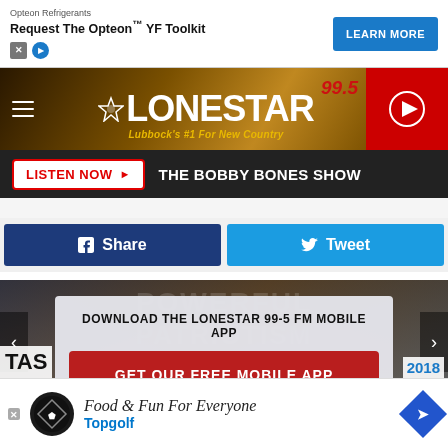[Figure (screenshot): Advertisement banner for Opteon Refrigerants with 'Request The Opteon YF Toolkit' text and a blue 'LEARN MORE' button]
[Figure (logo): 99.5 Lonestar FM radio station banner - Lubbock's #1 For New Country]
LISTEN NOW  THE BOBBY BONES SHOW
Share
Tweet
DOWNLOAD THE LONESTAR 99-5 FM MOBILE APP
GET OUR FREE MOBILE APP
Also listen on:  amazon alexa
[Figure (screenshot): Topgolf advertisement: Food & Fun For Everyone - Topgolf]
2018